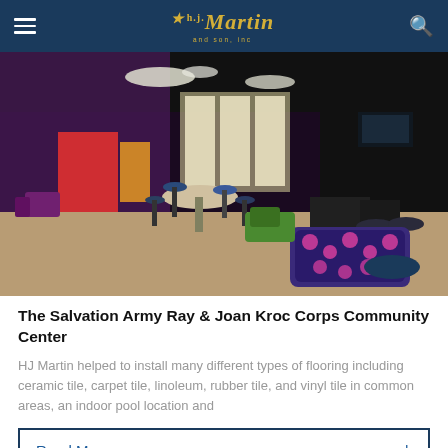HJ Martin and Son, Inc. — navigation bar with logo
[Figure (photo): Interior of The Salvation Army Ray & Joan Kroc Corps Community Center showing colorful lounge area with bar-height tables, chairs, patterned couches, and modern lighting]
The Salvation Army Ray & Joan Kroc Corps Community Center
HJ Martin helped to install many different types of flooring including ceramic tile, carpet tile, linoleum, rubber tile, and vinyl tile in common areas, an indoor pool location and
Read More +